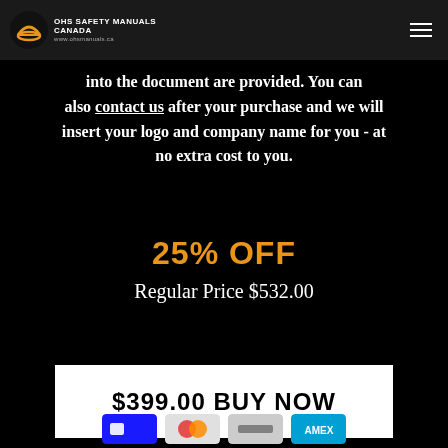OHS Safety Manuals Canada
address as a download. Instructions on how to insert your company logo and company name into the document are provided. You can also contact us after your purchase and we will insert your logo and company name for you - at no extra cost to you.
25% OFF
Regular Price $532.00
$399.00 BUY NOW